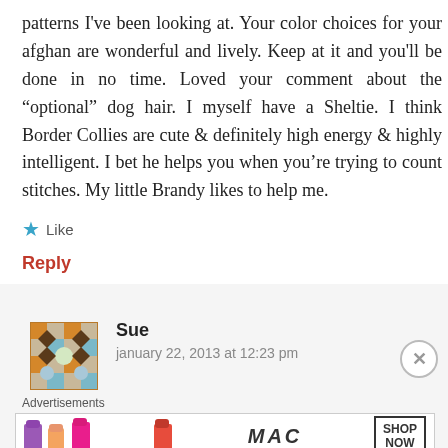patterns I've been looking at. Your color choices for your afghan are wonderful and lively. Keep at it and you'll be done in no time. Loved your comment about the “optional” dog hair. I myself have a Sheltie. I think Border Collies are cute & definitely high energy & highly intelligent. I bet he helps you when you’re trying to count stitches. My little Brandy likes to help me.
Like
Reply
Sue
january 22, 2013 at 12:23 pm
Advertisements